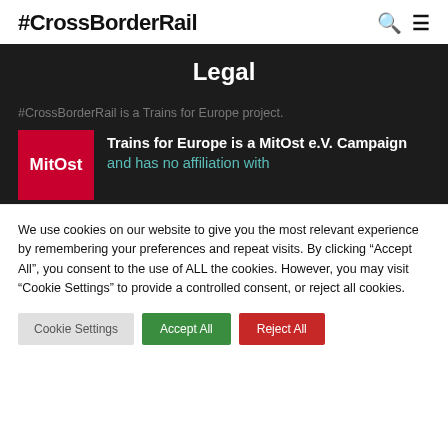#CrossBorderRail
Legal
#CrossBorderRail is a Trains for Europe project.
[Figure (logo): MitOst red logo box with white MitOst text]
Trains for Europe is a MitOst e.V. Campaign and has no affiliation with
We use cookies on our website to give you the most relevant experience by remembering your preferences and repeat visits. By clicking “Accept All”, you consent to the use of ALL the cookies. However, you may visit “Cookie Settings” to provide a controlled consent, or reject all cookies.
Cookie Settings | Accept All | Reject All